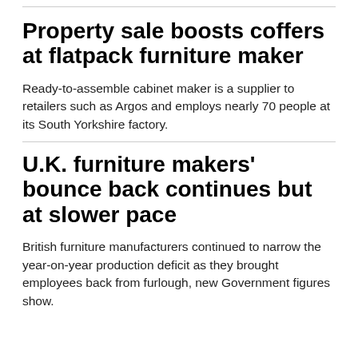Property sale boosts coffers at flatpack furniture maker
Ready-to-assemble cabinet maker is a supplier to retailers such as Argos and employs nearly 70 people at its South Yorkshire factory.
U.K. furniture makers' bounce back continues but at slower pace
British furniture manufacturers continued to narrow the year-on-year production deficit as they brought employees back from furlough, new Government figures show.